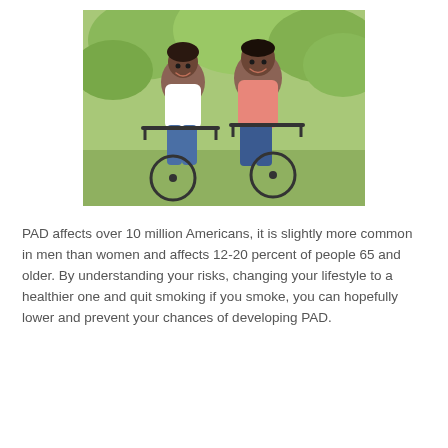[Figure (photo): Two older adults, a woman in a white top and a man in a pink shirt, smiling and riding bicycles together outdoors in a green park setting.]
PAD affects over 10 million Americans, it is slightly more common in men than women and affects 12-20 percent of people 65 and older. By understanding your risks, changing your lifestyle to a healthier one and quit smoking if you smoke, you can hopefully lower and prevent your chances of developing PAD.